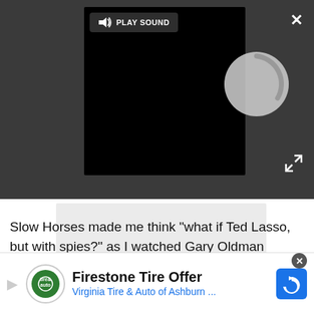[Figure (screenshot): Dark gray bar with embedded video player showing black background with loading spinner. A 'PLAY SOUND' button with speaker icon is shown at top of video. Close (X) button top right, expand arrows bottom right of bar.]
[Figure (screenshot): Light gray advertisement placeholder rectangle.]
Slow Horses made me think "what if Ted Lasso, but with spies?" as I watched Gary Oldman address his new colleagues, telling them that Slough House is where MI5 screw ups go. Especially when Oldman said
[Figure (screenshot): Bottom banner ad: Firestone Tire Offer — Virginia Tire & Auto of Ashburn ... with logo and blue navigation icon.]